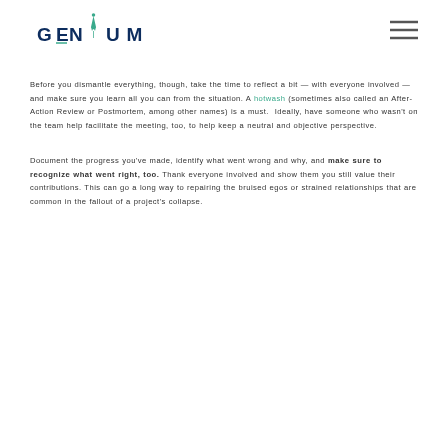GENIUM logo and navigation
Before you dismantle everything, though, take the time to reflect a bit — with everyone involved — and make sure you learn all you can from the situation. A hotwash (sometimes also called an After-Action Review or Postmortem, among other names) is a must. Ideally, have someone who wasn't on the team help facilitate the meeting, too, to help keep a neutral and objective perspective.
Document the progress you've made, identify what went wrong and why, and make sure to recognize what went right, too. Thank everyone involved and show them you still value their contributions. This can go a long way to repairing the bruised egos or strained relationships that are common in the fallout of a project's collapse.